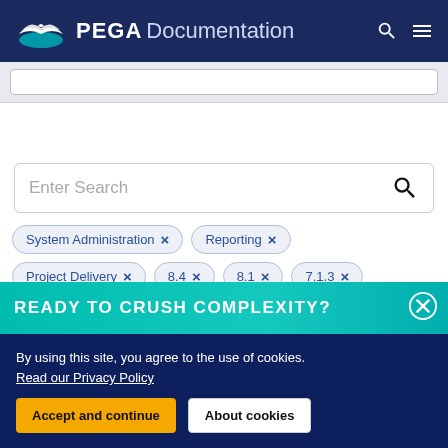PEGA Documentation
[Figure (screenshot): Small search bar in light gray strip below main header]
[Figure (screenshot): Search bar with placeholder text 'Enter Search' and magnifying glass icon]
System Administration ×
Reporting ×
Project Delivery ×
8.4 ×
8.1 ×
7.1.3 ×
6.3 SP1 ×
READY TO CRUSH COMPLEXITY?
By using this site, you agree to the use of cookies. Read our Privacy Policy
Accept and continue
About cookies